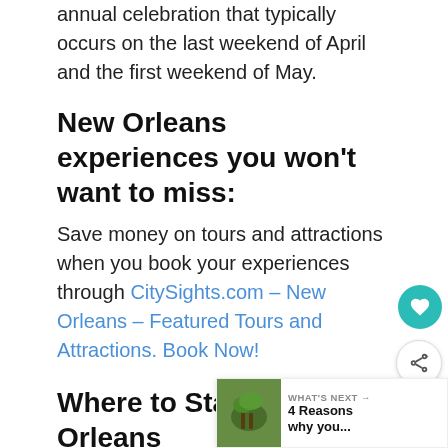annual celebration that typically occurs on the last weekend of April and the first weekend of May.
New Orleans experiences you won't want to miss:
Save money on tours and attractions when you book your experiences through CitySights.com – New Orleans – Featured Tours and Attractions. Book Now!
Where to Stay in New Orleans
If you enjoy upscale experiences, book your stay at The Roosevelt Waldorf Astoria.  The